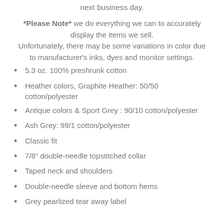next business day.
*Please Note* we do everything we can to accurately display the items we sell. Unfortunately, there may be some variations in color due to manufacturer's inks, dyes and monitor settings.
5.3 oz. 100% preshrunk cotton
Heather colors, Graphite Heather: 50/50 cotton/polyester
Antique colors & Sport Grey : 90/10 cotton/polyester
Ash Grey: 99/1 cotton/polyester
Classic fit
7/8" double-needle topstitched collar
Taped neck and shoulders
Double-needle sleeve and bottom hems
Grey pearlized tear away label